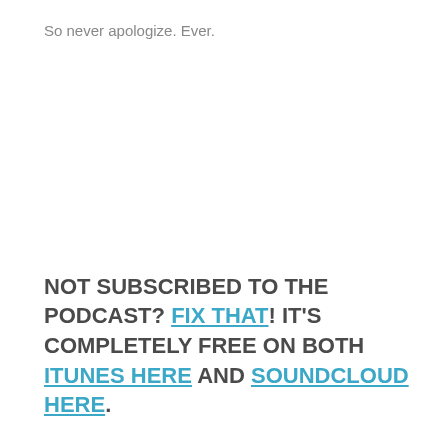So never apologize. Ever.
NOT SUBSCRIBED TO THE PODCAST? FIX THAT! IT'S COMPLETELY FREE ON BOTH ITUNES HERE AND SOUNDCLOUD HERE.